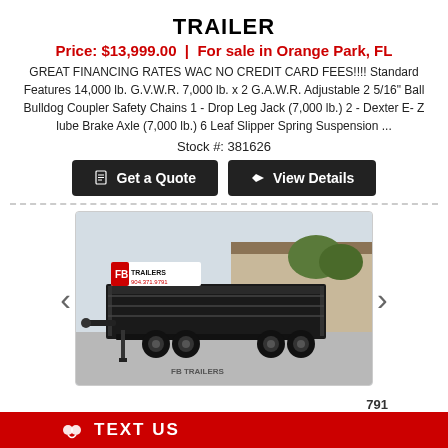TRAILER
Price: $13,999.00 | For sale in Orange Park, FL
GREAT FINANCING RATES WAC NO CREDIT CARD FEES!!!! Standard Features 14,000 lb. G.V.W.R. 7,000 lb. x 2 G.A.W.R. Adjustable 2 5/16" Ball Bulldog Coupler Safety Chains 1 - Drop Leg Jack (7,000 lb.) 2 - Dexter E- Z lube Brake Axle (7,000 lb.) 6 Leaf Slipper Spring Suspension ...
Stock #: 381626
[Figure (screenshot): Two dark buttons side by side: 'Get a Quote' with document icon and 'View Details' with tag icon, both with dark background]
[Figure (photo): Photo of a black FB Trailers dump trailer in a parking lot. FB Trailers logo and phone number 904.371.9791 visible on trailer. Navigation arrows on left and right sides.]
TEXT US